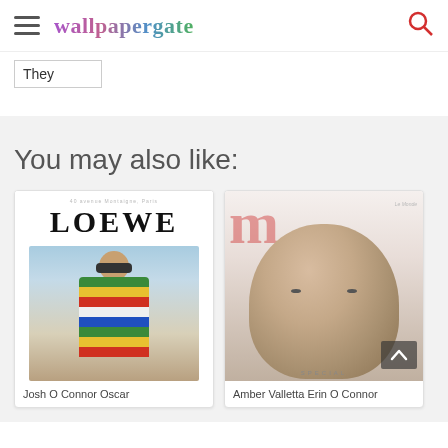wallpapergate
They
You may also like:
[Figure (photo): Magazine cover: LOEWE with photo of young man in striped colorful sweater and sunglasses]
Josh O Connor Oscar
[Figure (photo): Magazine cover: M magazine with close-up portrait of Amber Valletta Erin O Connor]
Amber Valletta Erin O Connor